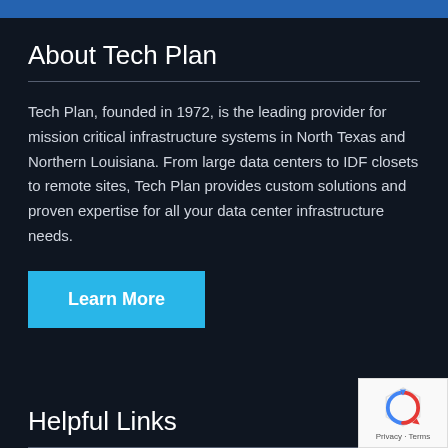About Tech Plan
Tech Plan, founded in 1972, is the leading provider for mission critical infrastructure systems in North Texas and Northern Louisiana. From large data centers to IDF closets to remote sites, Tech Plan provides custom solutions and proven expertise for all your data center infrastructure needs.
Learn More
Helpful Links
Power Distribution